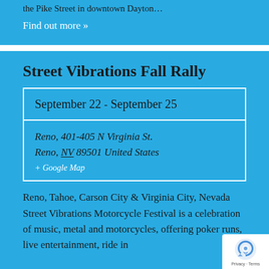the Pike Street in downtown Dayton…
Find out more »
Street Vibrations Fall Rally
| September 22 - September 25 |
| Reno, 401-405 N Virginia St.
Reno, NV 89501 United States
+ Google Map |
Reno, Tahoe, Carson City & Virginia City, Nevada Street Vibrations Motorcycle Festival is a celebration of music, metal and motorcycles, offering poker runs, live entertainment, ride in…